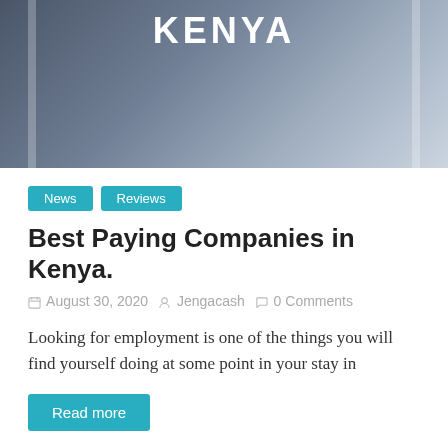[Figure (photo): Dark background image with keyboard, showing the word KENYA in white bold letters at top center, with two vertical white bar accents on left and right sides]
News
Reviews
Best Paying Companies in Kenya.
August 30, 2020   Jengacash   0 Comments
Looking for employment is one of the things you will find yourself doing at some point in your stay in
Read more
[Figure (photo): Mobile loans infographic with dark blurred background showing a phone with hand icon and text '1 KENYANS', title 'MOBILE LOANS IN KENYA' in white bold, and 'Statistics 2019' in lighter text. Arrow watermark visible bottom right.]